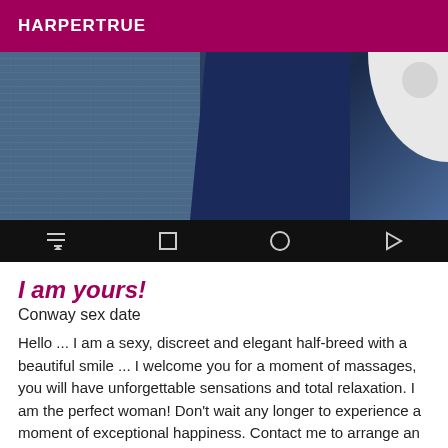HARPERTRUE
[Figure (photo): Partial screenshot of a mobile device showing a wicker/woven texture background with dark blue shape and white curved shape, with Android navigation bar at bottom]
I am yours!
Conway sex date
Hello ... I am a sexy, discreet and elegant half-breed with a beautiful smile ... I welcome you for a moment of massages, you will have unforgettable sensations and total relaxation. I am the perfect woman! Don't wait any longer to experience a moment of exceptional happiness. Contact me to arrange an appointment and